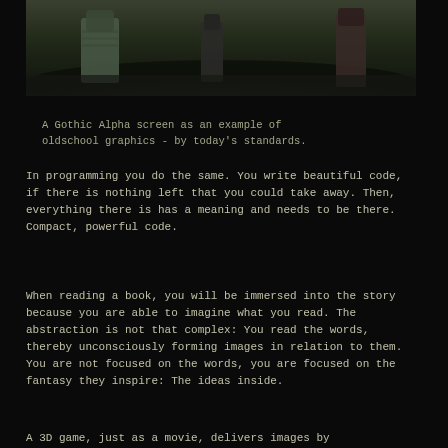[Figure (screenshot): A Gothic Alpha game screenshot showing dark fantasy 3D graphics with characters on a dark stone ground]
A Gothic Alpha screen as an example of oldschool graphics - by today's standards.
In programming you do the same. You write beautiful code, if there is nothing left that you could take away. Then, everything there is has a meaning and needs to be there. Compact, powerful code.
When reading a book, you will be immersed into the story because you are able to imagine what you read. The abstraction is not that complex: You read the words, thereby unconsciously forming images in relation to them. You are not focused on the words, you are focused on the fantasy they inspire: The ideas inside.
A 3D game, just as a movie, delivers images by